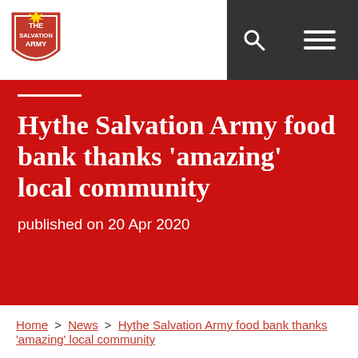The Salvation Army
Hythe Salvation Army food bank thanks 'amazing' local community
published on 20 Apr 2020
Home > News > Hythe Salvation Army food bank thanks 'amazing' local community